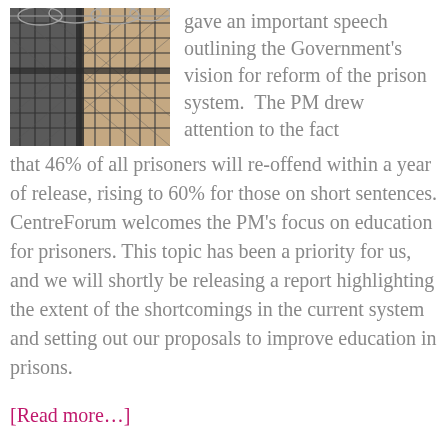[Figure (photo): Barbed wire fence with chain-link fencing, prison exterior wall visible in background.]
gave an important speech outlining the Government's vision for reform of the prison system.  The PM drew attention to the fact that 46% of all prisoners will re-offend within a year of release, rising to 60% for those on short sentences. CentreForum welcomes the PM's focus on education for prisoners. This topic has been a priority for us, and we will shortly be releasing a report highlighting the extent of the shortcomings in the current system and setting out our proposals to improve education in prisons.
[Read more…]